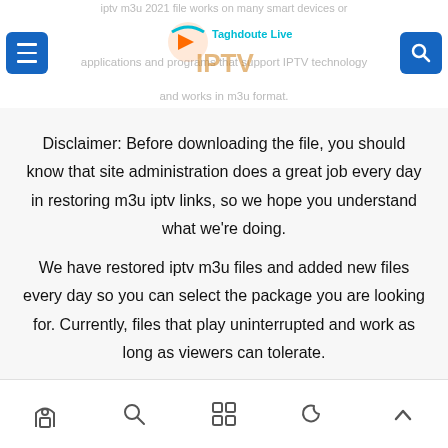iptv m3u 2021 file works on many smart devices or applications and programs that support IPTV technology and works in m3u format.
[Figure (logo): Taghdoute Live IPTV logo with play button icon, teal and orange colors]
Disclaimer: Before downloading the file, you should know that site administration does a great job every day in restoring m3u iptv links, so we hope you understand what we're doing.
We have restored iptv m3u files and added new files every day so you can select the package you are looking for. Currently, files that play uninterrupted and work as long as viewers can tolerate.
Home | Search | Apps | Dark mode | Scroll up